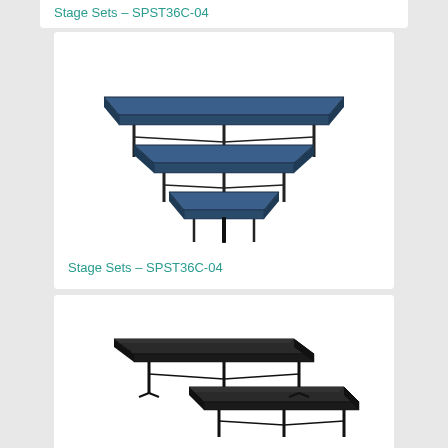Stage Sets – SPST36C-04
[Figure (photo): A three-tier triangular/chevron-shaped stage set with blue carpet surface, viewed from the front at an angle, showing multiple risers descending in stair-step fashion.]
Stage Sets – SPST36C-04
[Figure (photo): A two-tier rectangular stage set with dark/black carpet surface, viewed from the front-left at an angle, showing two levels of platforms on folding metal legs.]